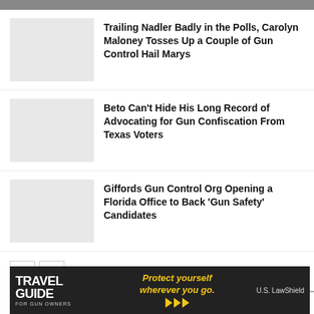Trailing Nadler Badly in the Polls, Carolyn Maloney Tosses Up a Couple of Gun Control Hail Marys
Beto Can't Hide His Long Record of Advocating for Gun Confiscation From Texas Voters
Giffords Gun Control Org Opening a Florida Office to Back 'Gun Safety' Candidates
95 COMMENTS
[Figure (photo): Travel Guide for Gun Owners advertisement banner with tagline 'Protect yourself wherever you go.' and U.S. LawShield branding]